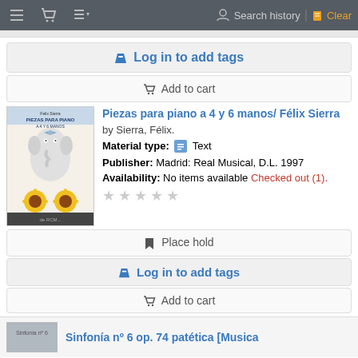Search history | Clear
Log in to add tags
Add to cart
Piezas para piano a 4 y 6 manos/ Félix Sierra
by Sierra, Félix.
Material type: Text
Publisher: Madrid: Real Musical, D.L. 1997
Availability: No items available Checked out (1).
Place hold
Log in to add tags
Add to cart
Sinfonía nº 6 op. 74 patética [Musica